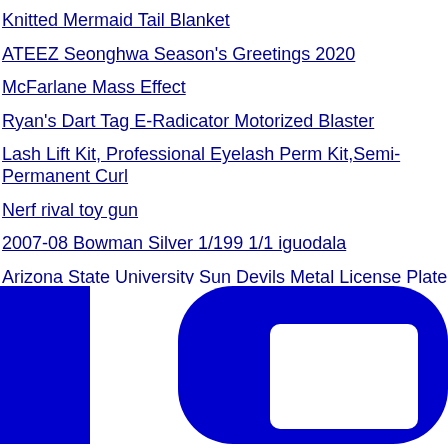Knitted Mermaid Tail Blanket
ATEEZ Seonghwa Season's Greetings 2020
McFarlane Mass Effect
Ryan's Dart Tag E-Radicator Motorized Blaster
Lash Lift Kit, Professional Eyelash Perm Kit,Semi-Permanent Curl
Nerf rival toy gun
2007-08 Bowman Silver 1/199 1/1 iguodala
Arizona State University Sun Devils Metal License Plate Frame Ho
Follow us on Instagram
Last 2 days to avail cash back on ICICI, Kotak & S
[Figure (illustration): Blue rounded rectangle / Instagram icon shape at the bottom of the page]